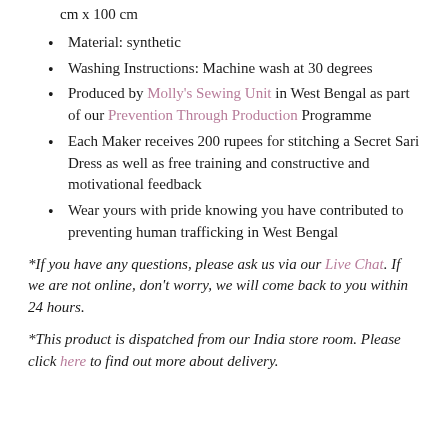Extra Large (UK size 18-22, US size 18-20) approx. 200 cm x 100 cm
Material: synthetic
Washing Instructions: Machine wash at 30 degrees
Produced by Molly's Sewing Unit in West Bengal as part of our Prevention Through Production Programme
Each Maker receives 200 rupees for stitching a Secret Sari Dress as well as free training and constructive and motivational feedback
Wear yours with pride knowing you have contributed to preventing human trafficking in West Bengal
*If you have any questions, please ask us via our Live Chat. If we are not online, don't worry, we will come back to you within 24 hours.
*This product is dispatched from our India store room. Please click here to find out more about delivery.